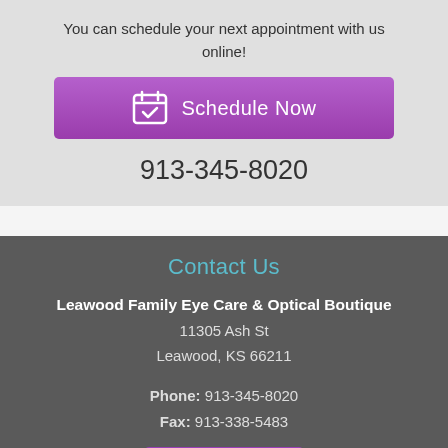You can schedule your next appointment with us online!
[Figure (other): Purple 'Schedule Now' button with calendar icon]
913-345-8020
Contact Us
Leawood Family Eye Care & Optical Boutique
11305 Ash St
Leawood, KS 66211
Phone: 913-345-8020
Fax: 913-338-5483
[Figure (other): Partial purple email button at bottom]